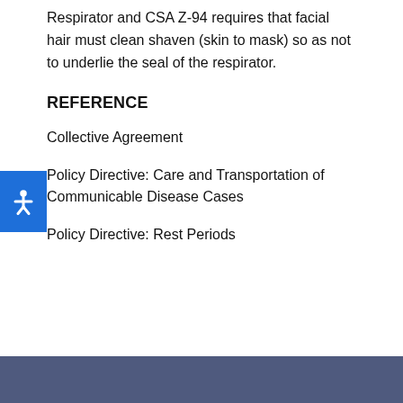Respirator and CSA Z-94 requires that facial hair must clean shaven (skin to mask) so as not to underlie the seal of the respirator.
REFERENCE
Collective Agreement
Policy Directive: Care and Transportation of Communicable Disease Cases
Policy Directive: Rest Periods